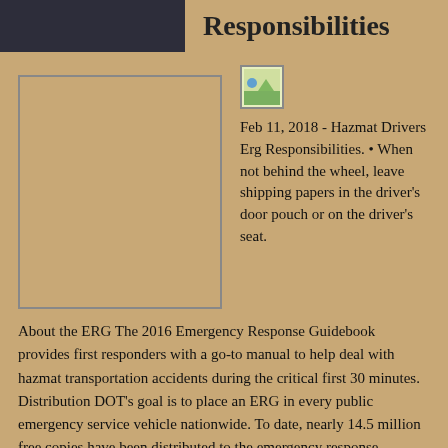Responsibilities
[Figure (photo): Large empty image placeholder box]
[Figure (photo): Small thumbnail image showing a landscape scene]
Feb 11, 2018 - Hazmat Drivers Erg Responsibilities. • When not behind the wheel, leave shipping papers in the driver's door pouch or on the driver's seat.
About the ERG The 2016 Emergency Response Guidebook provides first responders with a go-to manual to help deal with hazmat transportation accidents during the critical first 30 minutes. Distribution DOT's goal is to place an ERG in every public emergency service vehicle nationwide. To date, nearly 14.5 million free copies have been distributed to the emergency response community through state emergency management coordinators. Members of the public may purchase a copy of the ERG through the GPO Bookstore and other commercial suppliers. Telecharger patch jonah lomu rugby challenge ps3 themes. Get a Free Copy Copies are